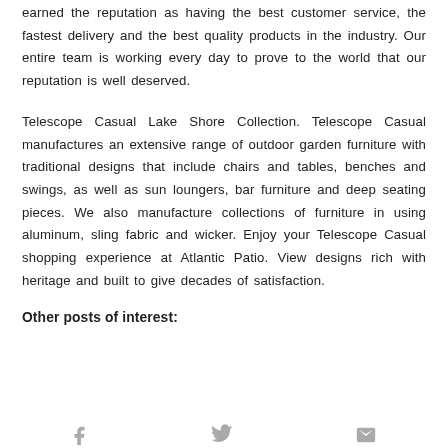earned the reputation as having the best customer service, the fastest delivery and the best quality products in the industry. Our entire team is working every day to prove to the world that our reputation is well deserved.
Telescope Casual Lake Shore Collection. Telescope Casual manufactures an extensive range of outdoor garden furniture with traditional designs that include chairs and tables, benches and swings, as well as sun loungers, bar furniture and deep seating pieces. We also manufacture collections of furniture in using aluminum, sling fabric and wicker. Enjoy your Telescope Casual shopping experience at Atlantic Patio. View designs rich with heritage and built to give decades of satisfaction.
Other posts of interest:
[Figure (other): Social media icons: Facebook (f), Twitter bird, and envelope/email icon, rendered in light gray]